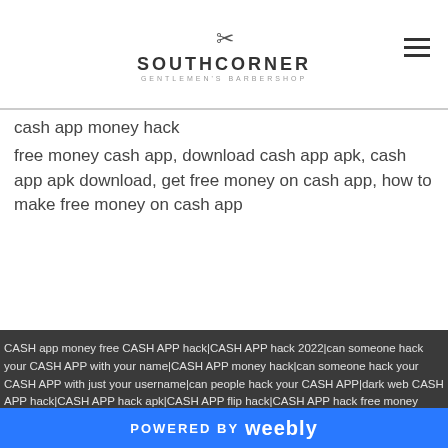SOUTHCORNER GENTLEMEN'S BARBERSHOP
cash app money hack
free money cash app, download cash app apk, cash app apk download, get free money on cash app, how to make free money on cash app
CASH app money free CASH APP hack|CASH APP hack 2022|can someone hack your CASH APP with your name|CASH APP money hack|can someone hack your CASH APP with just your username|can people hack your CASH APP|dark web CASH APP hack|CASH APP hack apk|CASH APP flip hack|CASH APP hack free money glitch|how to hack CASH APP|can someone hack your CASH APP account|CASH APP referral hack|can someone hack your CASH APP|CASH APP reward
POWERED BY weebly